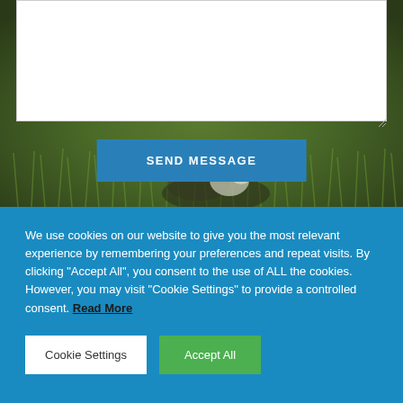[Figure (photo): Background image showing green grass with a partially visible animal (dog or cat) nestled in the grass, with a white textarea form field overlaid on top and a 'SEND MESSAGE' button below it.]
We use cookies on our website to give you the most relevant experience by remembering your preferences and repeat visits. By clicking “Accept All”, you consent to the use of ALL the cookies. However, you may visit "Cookie Settings" to provide a controlled consent. Read More
Cookie Settings
Accept All